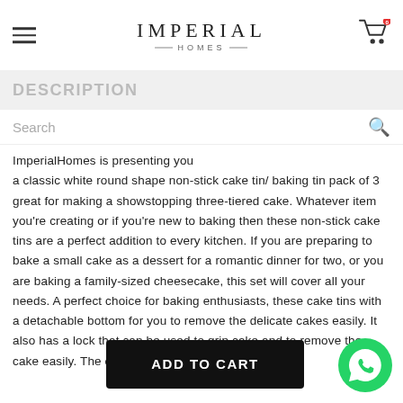IMPERIAL HOMES
DESCRIPTION
Search
ImperialHomes is presenting you a classic white round shape non-stick cake tin/ baking tin pack of 3 great for making a showstopping three-tiered cake. Whatever item you're creating or if you're new to baking then these non-stick cake tins are a perfect addition to every kitchen. If you are preparing to bake a small cake as a dessert for a romantic dinner for two, or you are baking a family-sized cheesecake, this set will cover all your needs. A perfect choice for baking enthusiasts, these cake tins with a detachable bottom for you to remove the delicate cakes easily. It also has a lock that can be used to grip cake and to remove the cake easily. The cake tin set has 3 sizes
ADD TO CART